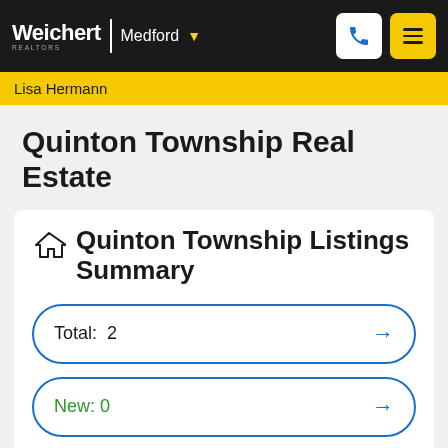Weichert | Medford
Lisa Hermann
Quinton Township Real Estate
Quinton Township Listings Summary
Total: 2
New: 0
Reduced: 0